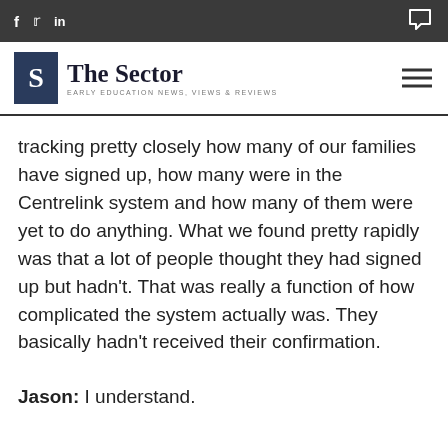f  y  in  [chat icon] — The Sector: Early Education News, Views & Reviews
tracking pretty closely how many of our families have signed up, how many were in the Centrelink system and how many of them were yet to do anything. What we found pretty rapidly was that a lot of people thought they had signed up but hadn't. That was really a function of how complicated the system actually was. They basically hadn't received their confirmation.
Jason: I understand.